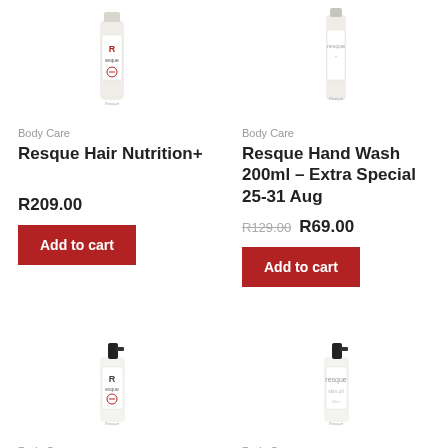[Figure (photo): Resque Hair Nutrition+ product bottle (tall, white bottle with label), partially cropped at top]
Body Care
Resque Hair Nutrition+
R209.00
Add to cart
[Figure (photo): Resque Hand Wash 200ml product bottle (white bottle with label), partially cropped at top]
Body Care
Resque Hand Wash 200ml – Extra Special 25-31 Aug
R129.00 R69.00
Add to cart
[Figure (photo): Resque Mist Skin Oil product bottle (small white spray bottle with black nozzle)]
Body Care
Resque Mist Skin Oil
[Figure (photo): Resque Mist Skin Oil 50ml product bottle (small white spray bottle with black nozzle)]
Body Care
Resque Mist Skin Oil 50ml